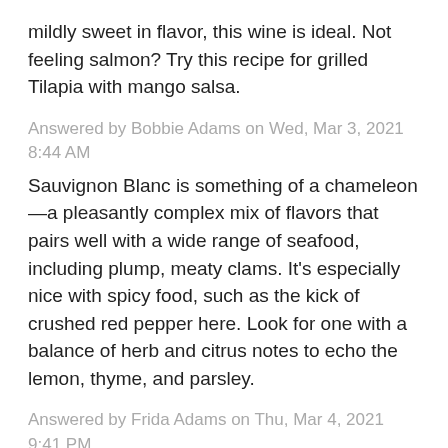mildly sweet in flavor, this wine is ideal. Not feeling salmon? Try this recipe for grilled Tilapia with mango salsa.
Answered by Bobbie Adams on Wed, Mar 3, 2021 8:44 AM
Sauvignon Blanc is something of a chameleon—a pleasantly complex mix of flavors that pairs well with a wide range of seafood, including plump, meaty clams. It's especially nice with spicy food, such as the kick of crushed red pepper here. Look for one with a balance of herb and citrus notes to echo the lemon, thyme, and parsley.
Answered by Frida Adams on Thu, Mar 4, 2021 9:41 PM
For seafood such as shrimp, lobster, sea bass, or trout, you're going to want to pair these with a white